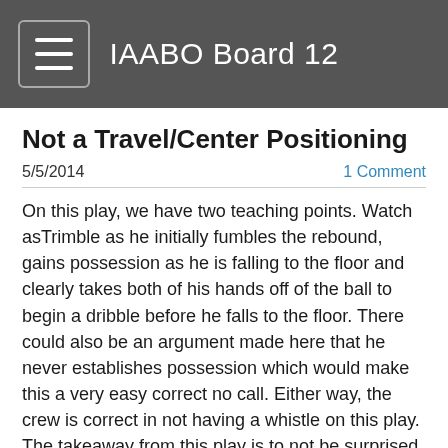IAABO Board 12
Not a Travel/Center Positioning
5/5/2014
1 Comment
On this play, we have two teaching points. Watch  asTrimble as he initially fumbles the rebound, gains possession as he is falling to the floor and clearly takes both of his hands off of the ball to begin a dribble before he falls to the floor. There could also be an argument made here that he never establishes possession which would make this a very easy correct no call. Either way, the crew is correct in not having a whistle on this play. The takeaway from this play is to not be surprised by these type of plays that look illegal, but in reality are no calls.
It's also important on this play to discuss the positioning of the Center after the free throw is missed. We know that the center is initially responsible for the shooter and lane violations opposite before and during the attempt, but then must provide coverage of weak side